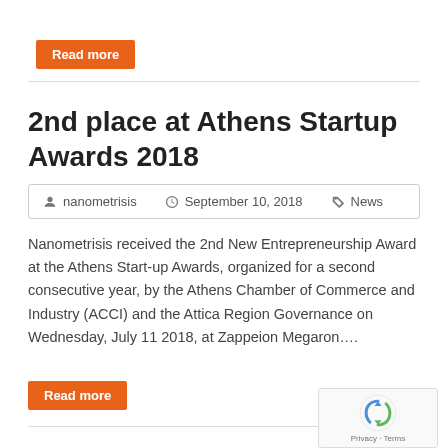Read more
2nd place at Athens Startup Awards 2018
nanometrisis   September 10, 2018   News
Nanometrisis received the 2nd New Entrepreneurship Award at the Athens Start-up Awards, organized for a second consecutive year, by the Athens Chamber of Commerce and Industry (ACCI) and the Attica Region Governance on Wednesday, July 11 2018, at Zappeion Megaron....
Read more